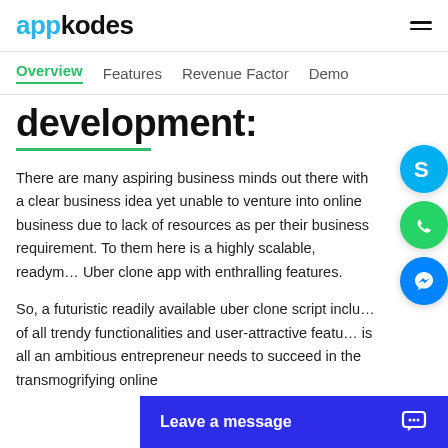appkodes
Overview   Features   Revenue Factor   Demo
development:
There are many aspiring business minds out there with a clear business idea yet unable to venture into online business due to lack of resources as per their business requirement. To them here is a highly scalable, readymade Uber clone app with enthralling features.
So, a futuristic readily available uber clone script including of all trendy functionalities and user-attractive features is all an ambitious entrepreneur needs to succeed in the transmogrifying online
Leave a message